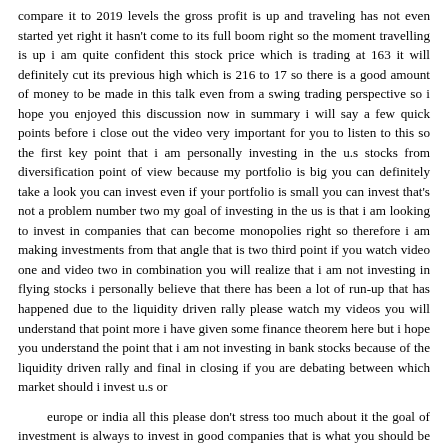compare it to 2019 levels the gross profit is up and traveling has not even started yet right it hasn't come to its full boom right so the moment travelling is up i am quite confident this stock price which is trading at 163 it will definitely cut its previous high which is 216 to 17 so there is a good amount of money to be made in this talk even from a swing trading perspective so i hope you enjoyed this discussion now in summary i will say a few quick points before i close out the video very important for you to listen to this so the first key point that i am personally investing in the u.s stocks from diversification point of view because my portfolio is big you can definitely take a look you can invest even if your portfolio is small you can invest that's not a problem number two my goal of investing in the us is that i am looking to invest in companies that can become monopolies right so therefore i am making investments from that angle that is two third point if you watch video one and video two in combination you will realize that i am not investing in flying stocks i personally believe that there has been a lot of run-up that has happened due to the liquidity driven rally please watch my videos you will understand that point more i have given some finance theorem here but i hope you understand the point that i am not investing in bank stocks because of the liquidity driven rally and final in closing if you are debating between which market should i invest u.s or
europe or india all this please don't stress too much about it the goal of investment is always to invest in good companies that is what you should be doing that is what even i am doing invest with a certain goal in mind for example if i am investing in india what am i trying to do i am trying to generate growth from midi cap small cap stocks and if good large cap stocks are available at decent prices i'll go and buy them right this is my strategy i'm not saying that you should also follow this follow your own strategy i have invested in large cap stocks already so whatever new buying i am doing i'm mostly doing it in small